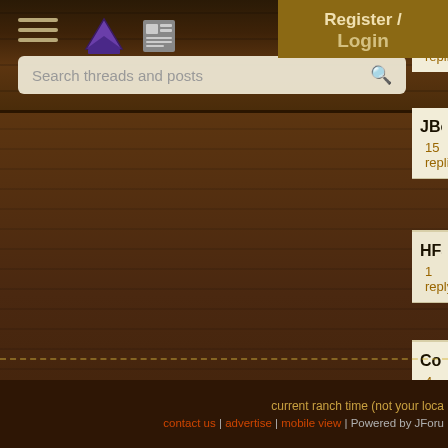JavaRanch / CodeRanch forum header with navigation icons and Register/Login button
Search threads and posts
JBoss and J2EE Security — 15 replies
HFSJ Errata - error about — 1 reply
Conflicting Security Cons — 4 replies
[Figure (screenshot): Book advertisement: 2nd Edition - Secrets of the Ja...]
current ranch time (not your loca | contact us | advertise | mobile view | Powered by JForu